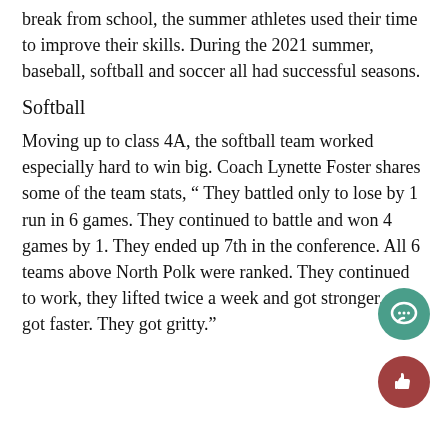break from school, the summer athletes used their time to improve their skills. During the 2021 summer, baseball, softball and soccer all had successful seasons.
Softball
Moving up to class 4A, the softball team worked especially hard to win big. Coach Lynette Foster shares some of the team stats, “ They battled only to lose by 1 run in 6 games. They continued to battle and won 4 games by 1. They ended up 7th in the conference. All 6 teams above North Polk were ranked. They continued to work, they lifted twice a week and got stronger, they got faster. They got gritty.”
[Figure (illustration): Teal circular chat bubble icon button (floating action button)]
[Figure (illustration): Dark red circular thumbs-up icon button (floating action button)]